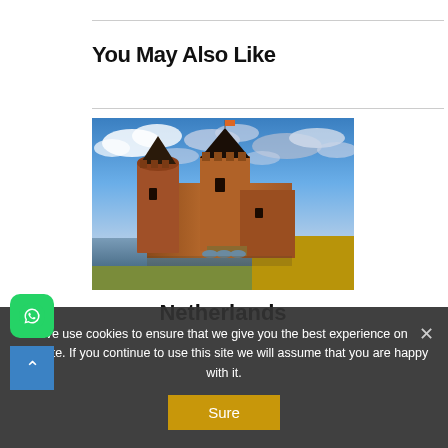You May Also Like
[Figure (photo): A medieval red-brick castle (Muiderslot, Netherlands) surrounded by water, under a dramatic cloudy blue sky. Drawbridge and towers visible.]
Netherlands
We use cookies to ensure that we give you the best experience on website. If you continue to use this site we will assume that you are happy with it.